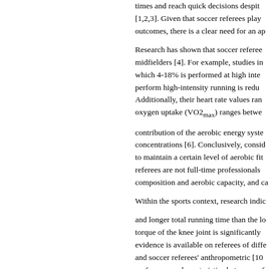times and reach quick decisions despite [1,2,3]. Given that soccer referees play outcomes, there is a clear need for an ap
Research has shown that soccer referee midfielders [4]. For example, studies in which 4-18% is performed at high inte perform high-intensity running is redu Additionally, their heart rate values ran oxygen uptake (VO2max) ranges betwe
contribution of the aerobic energy syste concentrations [6]. Conclusively, consid to maintain a certain level of aerobic fit referees are not full-time professionals composition and aerobic capacity, and ca
Within the sports context, research indic
and longer total running time than the lo torque of the knee joint is significantly evidence is available on referees of diffe and soccer referees' anthropometric [10 performance characteristics between ref standard referees indicated only a few si lactate values were identified between t soccer field referees with respect to cha